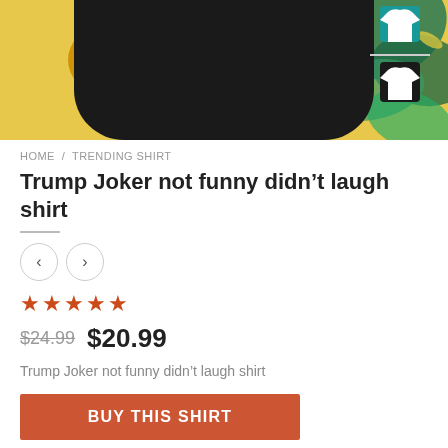[Figure (photo): Product image showing a black t-shirt on a tropical yellow and green leaf background with a teal t-shirt icon overlay and navigation arrows]
HOME / TRENDING SHIRT
Trump Joker not funny didn't laugh shirt
★★★★★
$24.99  $20.99
Trump Joker not funny didn't laugh shirt
BUY THIS SHIRT
Category: Trending shirt